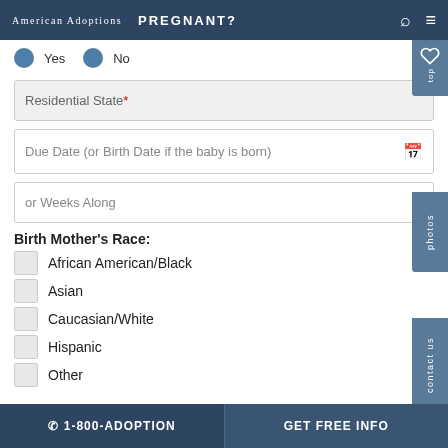American Adoptions  PREGNANT?
Yes  No
Residential State*
Due Date (or Birth Date if the baby is born)
or Weeks Along
Birth Mother's Race:
African American/Black
Asian
Caucasian/White
Hispanic
Other
☎ 1-800-ADOPTION   GET FREE INFO